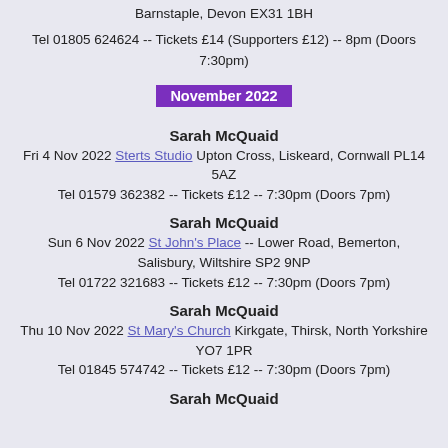Barnstaple, Devon EX31 1BH
Tel 01805 624624 -- Tickets £14 (Supporters £12) -- 8pm (Doors 7:30pm)
November 2022
Sarah McQuaid
Fri 4 Nov 2022 Sterts Studio Upton Cross, Liskeard, Cornwall PL14 5AZ
Tel 01579 362382 -- Tickets £12 -- 7:30pm (Doors 7pm)
Sarah McQuaid
Sun 6 Nov 2022 St John's Place -- Lower Road, Bemerton, Salisbury, Wiltshire SP2 9NP
Tel 01722 321683 -- Tickets £12 -- 7:30pm (Doors 7pm)
Sarah McQuaid
Thu 10 Nov 2022 St Mary's Church Kirkgate, Thirsk, North Yorkshire YO7 1PR
Tel 01845 574742 -- Tickets £12 -- 7:30pm (Doors 7pm)
Sarah McQuaid